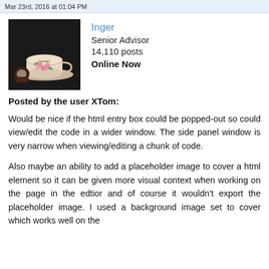Mar 23rd, 2016 at 01:04 PM
[Figure (photo): Teacup with floral design on saucer, with two dark cookies beside it, on black background. Teacup has 'October' written on it.]
Inger
Senior Advisor
14,110 posts
Online Now
Posted by the user XTom:
Would be nice if the html entry box could be popped-out so could view/edit the code in a wider window. The side panel window is very narrow when viewing/editing a chunk of code.
Also maybe an ability to add a placeholder image to cover a html element so it can be given more visual context when working on the page in the edtior and of course it wouldn't export the placeholder image. I used a background image set to cover which works well on the